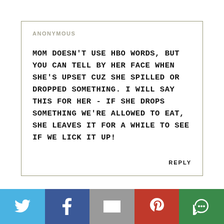ANONYMOUS
MOM DOESN'T USE HBO WORDS, BUT YOU CAN TELL BY HER FACE WHEN SHE'S UPSET CUZ SHE SPILLED OR DROPPED SOMETHING. I WILL SAY THIS FOR HER - IF SHE DROPS SOMETHING WE'RE ALLOWED TO EAT, SHE LEAVES IT FOR A WHILE TO SEE IF WE LICK IT UP!
REPLY
[Figure (infographic): Social sharing bar with five buttons: Twitter (blue bird icon), Facebook (dark blue f icon), Email (grey envelope icon), Pinterest (red P icon), Other/share (green circular arrow icon)]